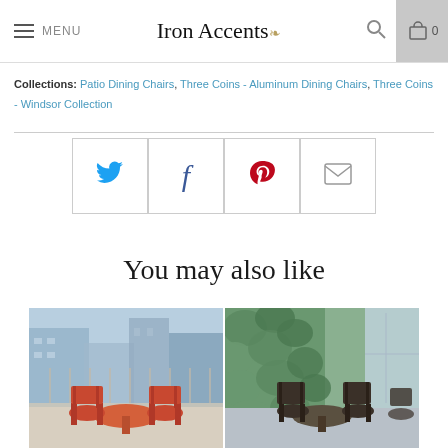Iron Accents — Menu | Search | Cart 0
Collections: Patio Dining Chairs, Three Coins - Aluminum Dining Chairs, Three Coins - Windsor Collection
[Figure (other): Social sharing buttons row: Twitter (bird), Facebook (f), Pinterest (p), Email (envelope)]
You may also like
[Figure (photo): Outdoor patio seating area with orange/red Windsor-style chairs around an orange round table on a rooftop balcony with city buildings in background]
[Figure (photo): Outdoor patio seating area with dark Windsor-style chairs around a dark round table next to a green plant wall]